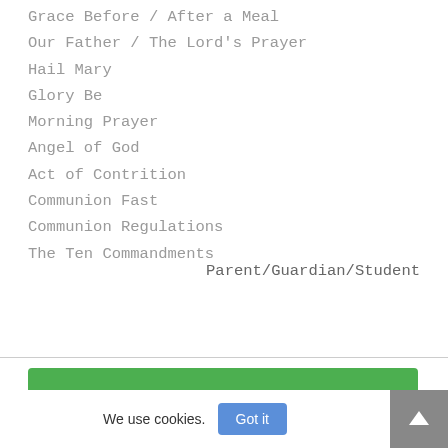Grace Before / After a Meal
Our Father / The Lord's Prayer
Hail Mary
Glory Be
Morning Prayer
Angel of God
Act of Contrition
Communion Fast
Communion Regulations
The Ten Commandments
Parent/Guardian/Student
You can also read
We use cookies.
Got it